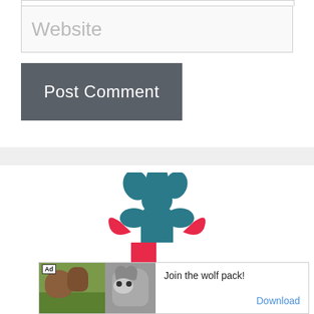[Figure (screenshot): Input field with placeholder text 'Website' in light gray, styled with a light border and background]
[Figure (screenshot): Dark gray 'Post Comment' button]
[Figure (logo): Craftknights logo: a medieval knight bust above a red and white checkered shield with a teal banner reading 'Craftknights']
[Figure (screenshot): Ad banner with bear/nature scene on left, wolf image in middle, text 'Join the wolf pack!' and 'Download' link on right]